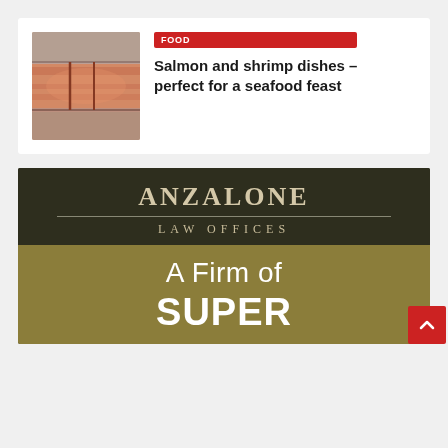[Figure (photo): Close-up photo of salmon fillets on a plate]
FOOD
Salmon and shrimp dishes – perfect for a seafood feast
[Figure (logo): Anzalone Law Offices advertisement banner showing 'ANZALONE LAW OFFICES' in serif text on dark background, with 'A Firm of SUPER' text on gold/olive background below]